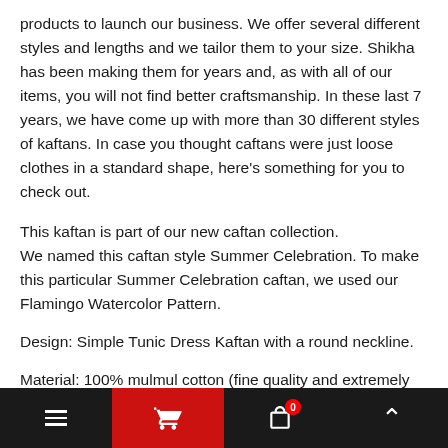products to launch our business. We offer several different styles and lengths and we tailor them to your size. Shikha has been making them for years and, as with all of our items, you will not find better craftsmanship. In these last 7 years, we have come up with more than 30 different styles of kaftans. In case you thought caftans were just loose clothes in a standard shape, here's something for you to check out.
This kaftan is part of our new caftan collection.
We named this caftan style Summer Celebration. To make this particular Summer Celebration caftan, we used our Flamingo Watercolor Pattern.
Design: Simple Tunic Dress Kaftan with a round neckline.
Material: 100% mulmul cotton (fine quality and extremely soft, gets softer with every wash)
Fabric Options: A variety of colors are available in this fabric (Fabric swatches are there in one of the pictures above). If you
Navigation bar with menu, cart, bag (0 items), and scroll-up button